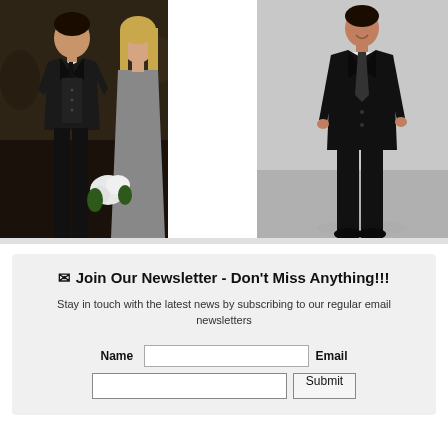[Figure (photo): Two people at a wedding: a man in a black suit/tuxedo with dark tie, and a woman in a gray/silver dress holding white flowers, outdoor setting]
[Figure (photo): A man in a black suit standing full-length against a light gray background, wearing a dark tie and white pocket square]
✉ Join Our Newsletter - Don't Miss Anything!!!
Stay in touch with the latest news by subscribing to our regular email newsletters
Name  [input field]  Email
[email input field]  [Submit button]